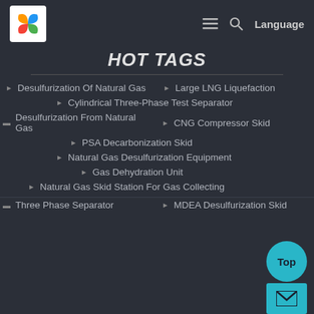HOT TAGS navigation page with logo, hamburger menu, search, and Language
HOT TAGS
Desulfurization Of Natural Gas
Large LNG Liquefaction
Cylindrical Three-Phase Test Separator
Desulfurization From Natural Gas
CNG Compressor Skid
PSA Decarbonization Skid
Natural Gas Desulfurization Equipment
Gas Dehydration Unit
Natural Gas Skid Station For Gas Collecting
Three Phase Separator
MDEA Desulfurization Skid